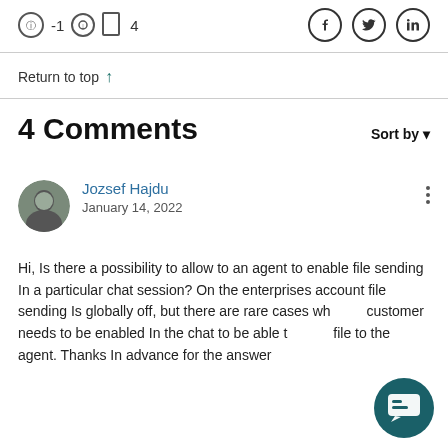-1  4
Return to top ↑
4 Comments
Sort by ▾
Jozsef Hajdu
January 14, 2022
Hi, Is there a possibility to allow to an agent to enable file sending In a particular chat session? On the enterprises account file sending Is globally off, but there are rare cases wh... customer needs to be enabled In the chat to be able t... file to the agent. Thanks In advance for the answer